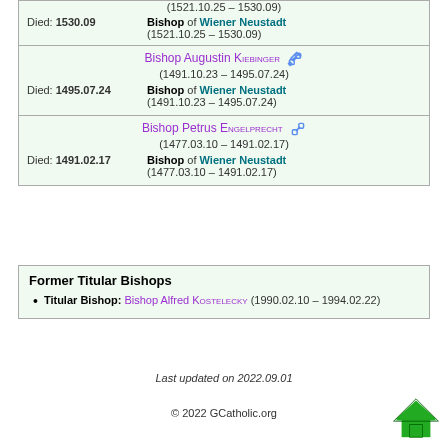| (1521.10.25 – 1530.09) |  |
| Died: 1530.09 | Bishop of Wiener Neustadt (1521.10.25 – 1530.09) |
| Bishop Augustin Kiebinger (1491.10.23 – 1495.07.24) |  |
| Died: 1495.07.24 | Bishop of Wiener Neustadt (1491.10.23 – 1495.07.24) |
| Bishop Petrus Engelprecht (1477.03.10 – 1491.02.17) |  |
| Died: 1491.02.17 | Bishop of Wiener Neustadt (1477.03.10 – 1491.02.17) |
Former Titular Bishops
Titular Bishop: Bishop Alfred Kostelecky (1990.02.10 – 1994.02.22)
Last updated on 2022.09.01
© 2022 GCatholic.org